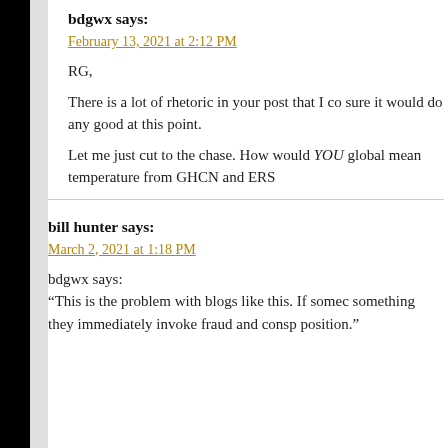bdgwx says:
February 13, 2021 at 2:12 PM
RG,
There is a lot of rhetoric in your post that I co sure it would do any good at this point.
Let me just cut to the chase. How would YOU global mean temperature from GHCN and ERS
bill hunter says:
March 2, 2021 at 1:18 PM
bdgwx says:
“This is the problem with blogs like this. If somec something they immediately invoke fraud and consp position.”